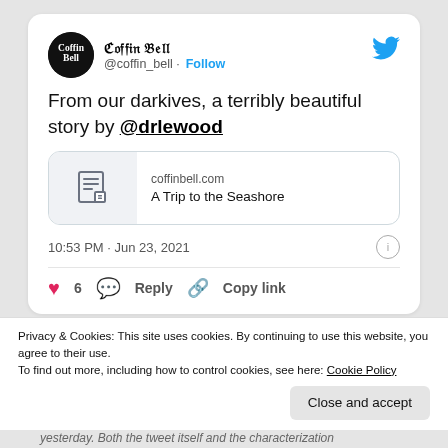[Figure (screenshot): Twitter/social media post from @coffin_bell with Coffin Bell circular logo avatar and blue Twitter bird icon]
ℭ𝔬𝔣𝔣𝔦𝔫 𝔅𝔢𝔩𝔩
@coffin_bell · Follow
From our darkives, a terribly beautiful story by @drlewood
coffinbell.com
A Trip to the Seashore
10:53 PM · Jun 23, 2021
♥ 6  Reply  Copy link
Privacy & Cookies: This site uses cookies. By continuing to use this website, you agree to their use.
To find out more, including how to control cookies, see here: Cookie Policy
Close and accept
yesterday. Both the tweet itself and the characterization